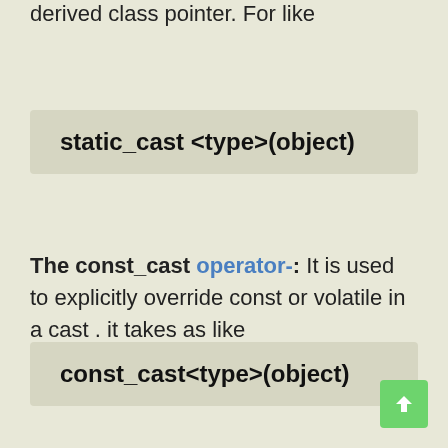derived class pointer. For like
The const_cast operator-: It is used to explicitly override const or volatile in a cast . it takes as like